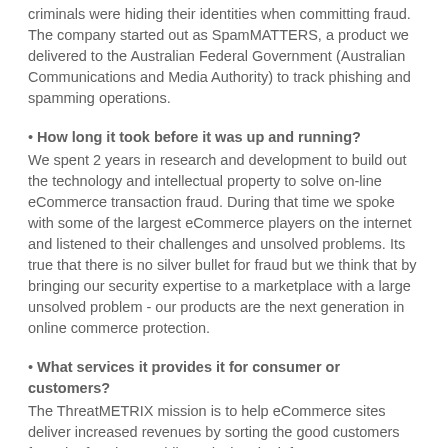criminals were hiding their identities when committing fraud. The company started out as SpamMATTERS, a product we delivered to the Australian Federal Government (Australian Communications and Media Authority) to track phishing and spamming operations.
• How long it took before it was up and running? We spent 2 years in research and development to build out the technology and intellectual property to solve on-line eCommerce transaction fraud. During that time we spoke with some of the largest eCommerce players on the internet and listened to their challenges and unsolved problems. Its true that there is no silver bullet for fraud but we think that by bringing our security expertise to a marketplace with a large unsolved problem - our products are the next generation in online commerce protection.
• What services it provides it for consumer or customers? The ThreatMETRIX mission is to help eCommerce sites deliver increased revenues by sorting the good customers from the fraudsters whilst reducing the infrastructure costs to